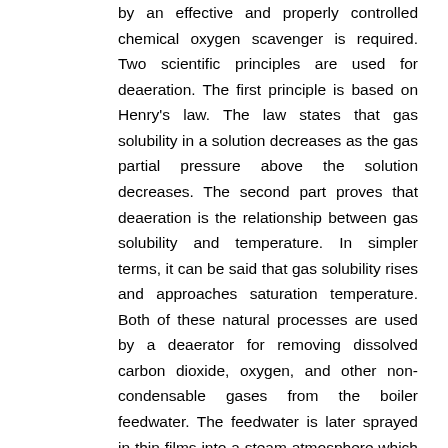by an effective and properly controlled chemical oxygen scavenger is required. Two scientific principles are used for deaeration. The first principle is based on Henry's law. The law states that gas solubility in a solution decreases as the gas partial pressure above the solution decreases. The second part proves that deaeration is the relationship between gas solubility and temperature. In simpler terms, it can be said that gas solubility rises and approaches saturation temperature. Both of these natural processes are used by a deaerator for removing dissolved carbon dioxide, oxygen, and other non-condensable gases from the boiler feedwater. The feedwater is later sprayed in thin films into a steam atmosphere which allows it to become quickly heated to saturation. Spraying of feedwater in thin films gets the surface area of the liquid in contact with the steam increased that results in the